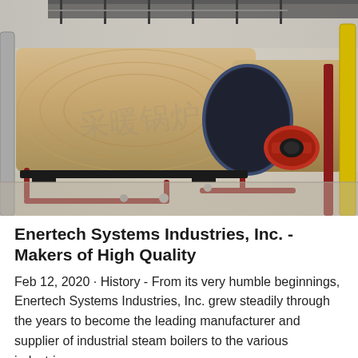[Figure (photo): Industrial steam boilers in a factory setting. Large cylindrical tan/beige colored boilers with blue circular front ends, red and dark metallic pipe fittings, a yellow vertical pipe on the right, and metal scaffolding/walkway above. The boilers are mounted on black bases on a concrete floor.]
Enertech Systems Industries, Inc. - Makers of High Quality
Feb 12, 2020 · History - From its very humble beginnings, Enertech Systems Industries, Inc. grew steadily through the years to become the leading manufacturer and supplier of industrial steam boilers to the various industri...